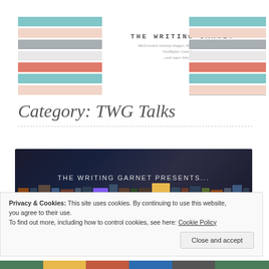[Figure (logo): The Writing Garnet blog header with colored horizontal stripes on left and right, center text showing site name and tagline]
Category: TWG Talks
[Figure (photo): Dark bookshelf image with text overlay reading 'THE WRITING GARNET PRESENTS...']
Privacy & Cookies: This site uses cookies. By continuing to use this website, you agree to their use.
To find out more, including how to control cookies, see here: Cookie Policy
Close and accept